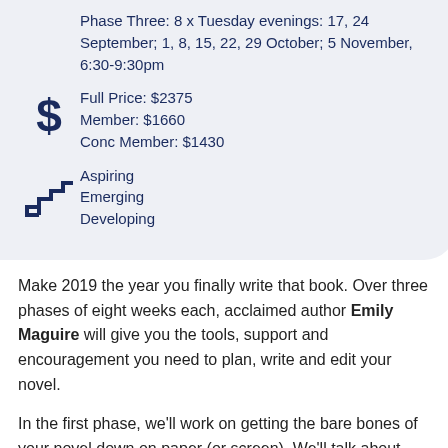Phase Three: 8 x Tuesday evenings: 17, 24 September; 1, 8, 15, 22, 29 October; 5 November, 6:30-9:30pm
Full Price: $2375
Member: $1660
Conc Member: $1430
Aspiring
Emerging
Developing
Make 2019 the year you finally write that book. Over three phases of eight weeks each, acclaimed author Emily Maguire will give you the tools, support and encouragement you need to plan, write and edit your novel.
In the first phase, we'll work on getting the bare bones of your novel down on paper (or screen). We'll talk about generating ideas and planning, and look at the